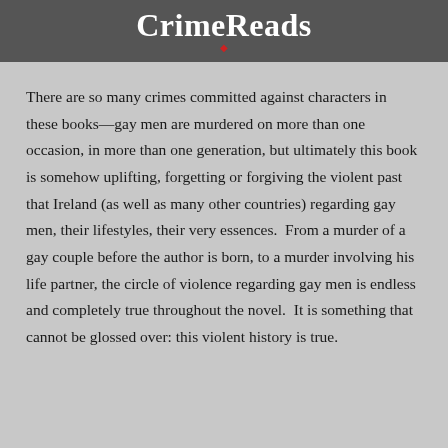CrimeReads
There are so many crimes committed against characters in these books—gay men are murdered on more than one occasion, in more than one generation, but ultimately this book is somehow uplifting, forgetting or forgiving the violent past that Ireland (as well as many other countries) regarding gay men, their lifestyles, their very essences.  From a murder of a gay couple before the author is born, to a murder involving his life partner, the circle of violence regarding gay men is endless and completely true throughout the novel.  It is something that cannot be glossed over: this violent history is true.